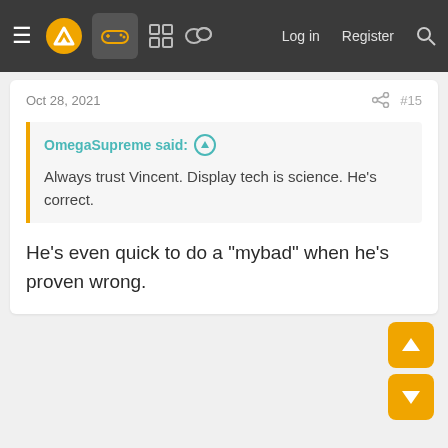≡ [logo] [controller] [grid] [chat]  Log in  Register  🔍
Oct 28, 2021  #15
OmegaSupreme said: ↑
Always trust Vincent. Display tech is science. He's correct.
He's even quick to do a "mybad" when he's proven wrong.